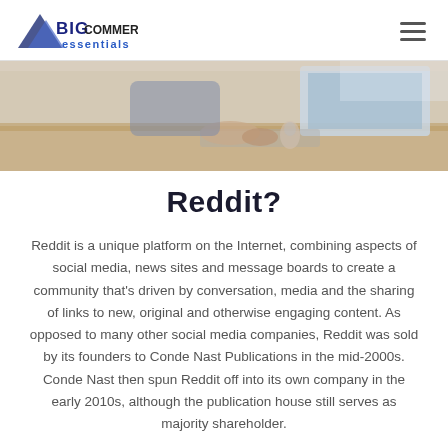BIGCOMMERCE essentials
[Figure (photo): Two people working at a desk with a computer, hands visible on keyboard and mouse, wooden desk surface.]
Reddit?
Reddit is a unique platform on the Internet, combining aspects of social media, news sites and message boards to create a community that's driven by conversation, media and the sharing of links to new, original and otherwise engaging content. As opposed to many other social media companies, Reddit was sold by its founders to Conde Nast Publications in the mid-2000s. Conde Nast then spun Reddit off into its own company in the early 2010s, although the publication house still serves as majority shareholder.